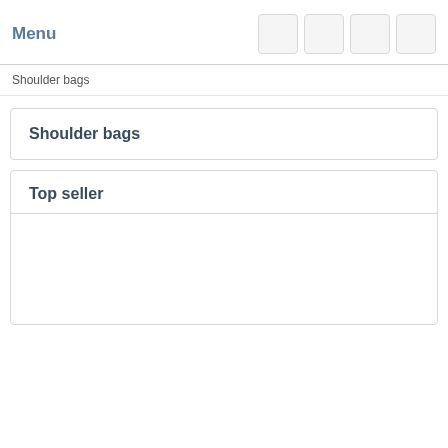Menu
Shoulder bags
Shoulder bags
Top seller